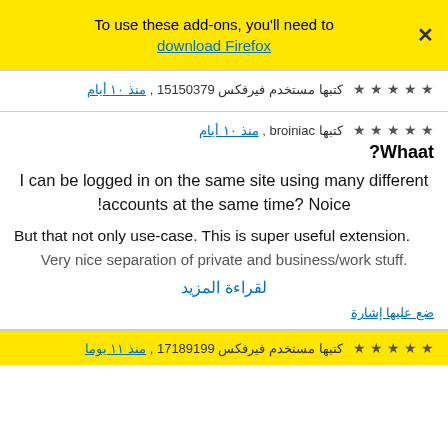To use these add-ons, you'll need to download Firefox
كتبها مستخدم فيرفكس 15150379 , منذ ١٠ أيام ★★★★★
كتبها broiniac , منذ ١٠ أيام ★★★★★
Whaat?
I can be logged in on the same site using many different accounts at the same time? Noice!
But that not only use-case. This is super useful extension.
Very nice separation of private and business/work stuff.
لقراءة المزيد
ضع عليها إشارة
كتبها مستخدم فيرفكس 17189199 , منذ ١١ يوما ★★★★★